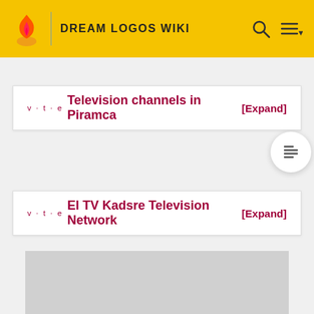DREAM LOGOS WIKI
v · t · e Television channels in Piramca [Expand]
v · t · e El TV Kadsre Television Network [Expand]
[Figure (other): Gray image placeholder at bottom of page]